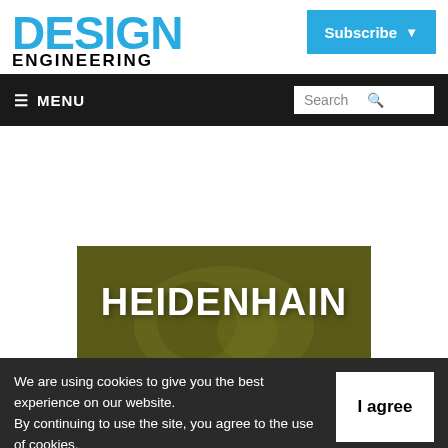[Figure (logo): Design Engineering magazine logo with DESIGN in large blue bold text and ENGINEERING in smaller black bold text below]
[Figure (other): Subscribe button in sky blue with dropdown arrow]
≡ MENU | Search
[Figure (logo): HEIDENHAIN logo in white bold text on an olive/dark yellow-green background with machinery imagery]
We are using cookies to give you the best experience on our website.
By continuing to use the site, you agree to the use of cookies.
To find out more, read our privacy policy.
I agree